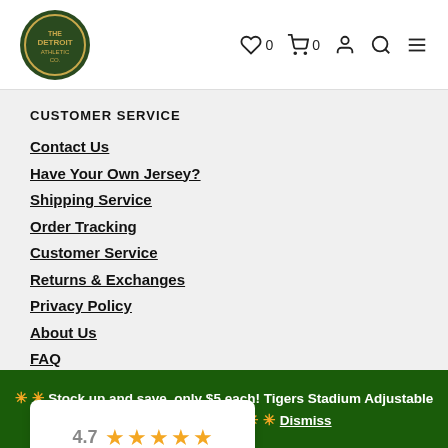Detroit Athletic Co. — Navigation header with logo, wishlist (0), cart (0), account, search, menu icons
CUSTOMER SERVICE
Contact Us
Have Your Own Jersey?
Shipping Service
Order Tracking
Customer Service
Returns & Exchanges
Privacy Policy
About Us
FAQ
[Figure (other): Google rating card showing 4.7 stars with 5 orange stars and Google logo]
MORE WAYS TO SHOP
Our Brands
✳ ✳ Stock up and save, only $5 each! Tigers Stadium Adjustable Cap Purchase here. ✳ ✳ Dismiss